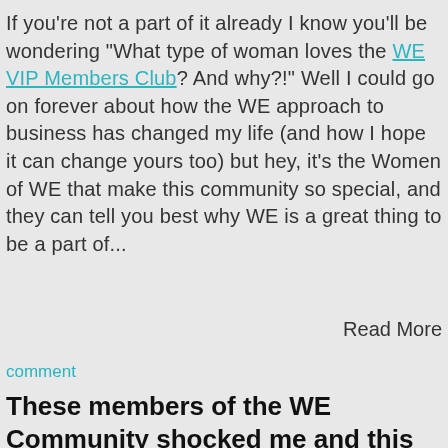If you're not a part of it already I know you'll be wondering "What type of woman loves the WE VIP Members Club? And why?!" Well I could go on forever about how the WE approach to business has changed my life (and how I hope it can change yours too) but hey, it's the Women of WE that make this community so special, and they can tell you best why WE is a great thing to be a part of...
Read More
comment
These members of the WE Community shocked me and this is why...